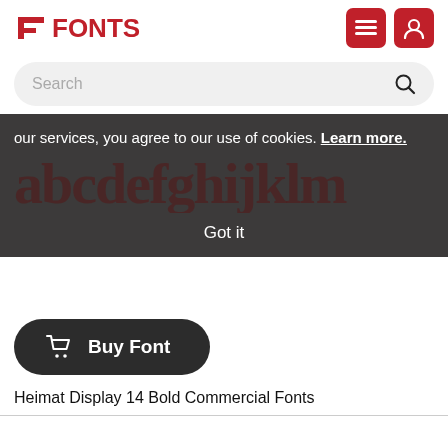FONTS
Search
our services, you agree to our use of cookies. Learn more. Got it
[Figure (screenshot): Cookie consent banner overlaid on large serif font preview showing 'abcdefghijklm' in dark background]
[Figure (illustration): Buy Font button - dark rounded pill button with shopping cart icon]
Heimat Display 14 Bold Commercial Fonts